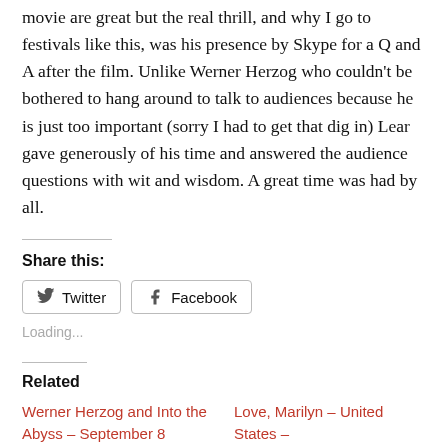movie are great but the real thrill, and why I go to festivals like this, was his presence by Skype for a Q and A after the film. Unlike Werner Herzog who couldn't be bothered to hang around to talk to audiences because he is just too important (sorry I had to get that dig in) Lear gave generously of his time and answered the audience questions with wit and wisdom. A great time was had by all.
Share this:
Twitter  Facebook
Loading...
Related
Werner Herzog and Into the Abyss – September 8
Love, Marilyn – United States – Liz Garbus